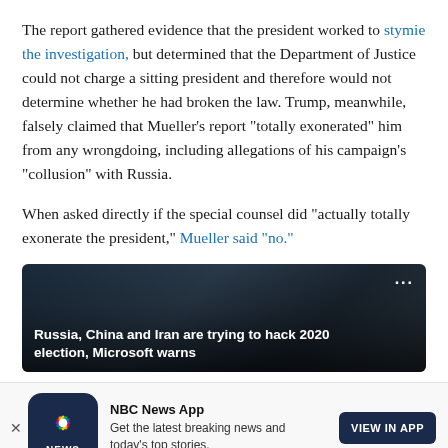The report gathered evidence that the president worked to stymie the investigation, but determined that the Department of Justice could not charge a sitting president and therefore would not determine whether he had broken the law. Trump, meanwhile, falsely claimed that Mueller's report “totally exonerated” him from any wrongdoing, including allegations of his campaign’s “collusion” with Russia.
When asked directly if the special counsel did “actually totally exonerate the president,” Mueller said “no.”
[Figure (screenshot): Dark video card thumbnail with text overlay: 'Russia, China and Iran are trying to hack 2020 election, Microsoft warns']
[Figure (infographic): NBC News App banner advertisement with NBC peacock logo, text 'NBC News App - Get the latest breaking news and today's top stories.' and a 'VIEW IN APP' button]